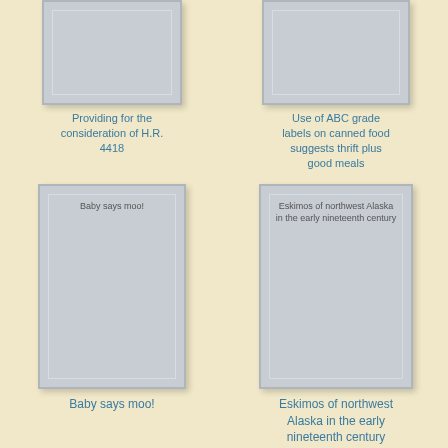[Figure (illustration): Partially cropped book cover placeholder card (top row, left)]
Providing for the consideration of H.R. 4418
[Figure (illustration): Partially cropped book cover placeholder card (top row, right)]
Use of ABC grade labels on canned food suggests thrift plus good meals
[Figure (illustration): Book cover placeholder card with text 'Baby says moo!']
Baby says moo!
[Figure (illustration): Book cover placeholder card with text 'Eskimos of northwest Alaska in the early nineteenth century']
Eskimos of northwest Alaska in the early nineteenth century